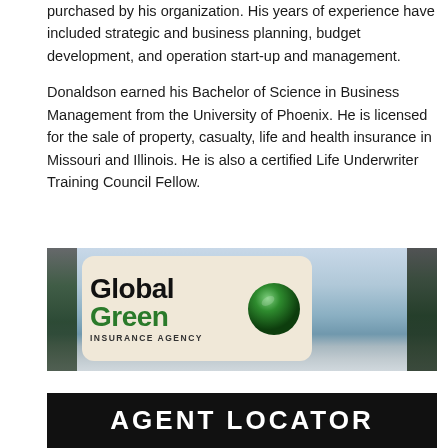purchased by his organization. His years of experience have included strategic and business planning, budget development, and operation start-up and management.
Donaldson earned his Bachelor of Science in Business Management from the University of Phoenix. He is licensed for the sale of property, casualty, life and health insurance in Missouri and Illinois. He is also a certified Life Underwriter Training Council Fellow.
[Figure (logo): Global Green Insurance Agency logo on a scenic lake and forest background. Logo card shows 'Global Green' in bold with a green sphere/globe icon and 'INSURANCE AGENCY' text below.]
[Figure (other): Black banner with white bold text reading 'AGENT LOCATOR']